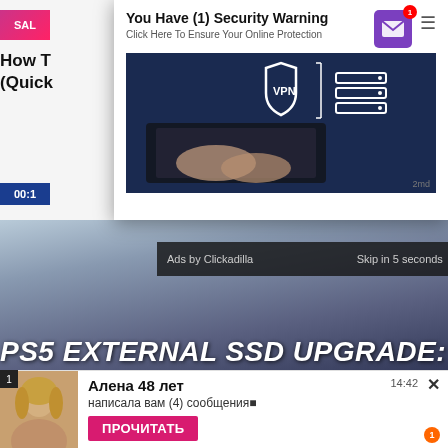[Figure (screenshot): Website screenshot showing a VPN popup ad overlay on top of a partially visible article titled 'How to... (Quick...'. The popup shows 'You Have (1) Security Warning' with 'Click Here To Ensure Your Online Protection' and a VPN laptop image. Below is a video player showing PS5 External SSD Upgrade content with an ad bar reading 'Ads by Clickadilla' and 'Skip in 5 seconds X'. At the bottom is a chat notification showing 'Алена 48 лет написала вам (4) сообщения' with a ПРОЧИТАТЬ button. Timestamp 14:42 visible.]
You Have (1) Security Warning
Click Here To Ensure Your Online Protection
2md
Ads by Clickadilla
Skip in 5 seconds ×
PS5 EXTERNAL SSD UPGRADE:
Алена 48 лет
написала вам (4) сообщения
ПРОЧИТАТЬ
14:42
00:1
How T... (Quick...